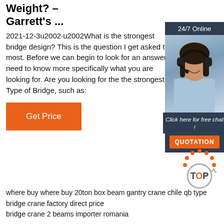Weight? – Garrett's ...
2021-12-3u2002·u2002What is the strongest bridge design? This is the question I get asked the most. Before we can begin to look for an answer, I need to know more specifically what you are looking for. Are you looking for the the strongest Type of Bridge, such as:
[Figure (illustration): Orange 'Get Price' button]
[Figure (photo): Advertisement box with '24/7 Online' header, photo of a woman with headset, 'Click here for free chat!' text, and orange QUOTATION button]
[Figure (logo): TOP logo with orange dots and circular arrow graphic]
where buy where buy 20ton box beam gantry crane chile qb type bridge crane factory direct price bridge crane 2 beams importer romania